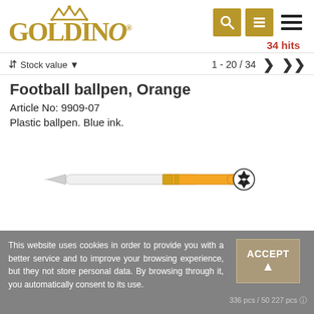[Figure (logo): Goldino logo with crown above stylized gold letters]
34 hits
1 - 20 / 34
Stock value
Football ballpen, Orange
Article No: 9909-07
Plastic ballpen. Blue ink.
[Figure (photo): Orange and white football-themed ballpen with soccer ball motif on clip end]
This website uses cookies in order to provide you with a better service and to improve your browsing experience, but they not store personal data. By browsing through it, you automatically consent to its use.
336 pcs / 50 227 pcs